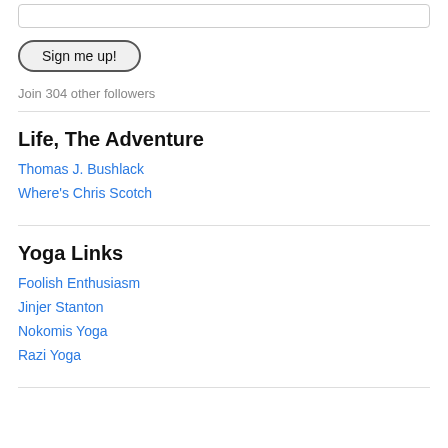[Figure (other): Email Address input field (text box)]
Sign me up!
Join 304 other followers
Life, The Adventure
Thomas J. Bushlack
Where's Chris Scotch
Yoga Links
Foolish Enthusiasm
Jinjer Stanton
Nokomis Yoga
Razi Yoga